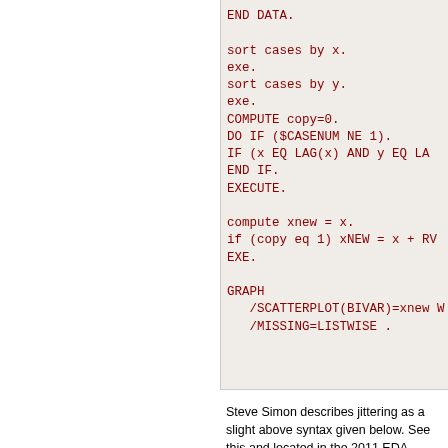END DATA.

sort cases by x.
exe.
sort cases by y.
exe.
COMPUTE copy=0.
DO IF ($CASENUM NE 1).
IF (x EQ LAG(x) AND y EQ LA
END IF.
EXECUTE.

compute xnew = x.
if (copy eq 1) xNEW = x + RV
EXE.

GRAPH
   /SCATTERPLOT(BIVAR)=xnew W
   /MISSING=LISTWISE .
Steve Simon describes jittering as a slight above syntax given below. See this and located in the 2011 EDA Graduate talk zip
xNEW = x + 0.2 * (UNIFORM(1
The use of open instead of solid shapes al